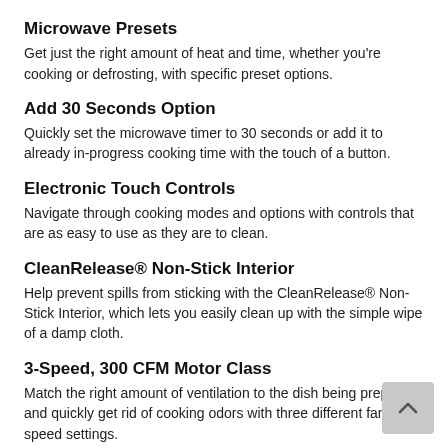Microwave Presets
Get just the right amount of heat and time, whether you're cooking or defrosting, with specific preset options.
Add 30 Seconds Option
Quickly set the microwave timer to 30 seconds or add it to already in-progress cooking time with the touch of a button.
Electronic Touch Controls
Navigate through cooking modes and options with controls that are as easy to use as they are to clean.
CleanRelease® Non-Stick Interior
Help prevent spills from sticking with the CleanRelease® Non-Stick Interior, which lets you easily clean up with the simple wipe of a damp cloth.
3-Speed, 300 CFM Motor Class
Match the right amount of ventilation to the dish being prepared and quickly get rid of cooking odors with three different fan speed settings.
Fingerprint Resistant